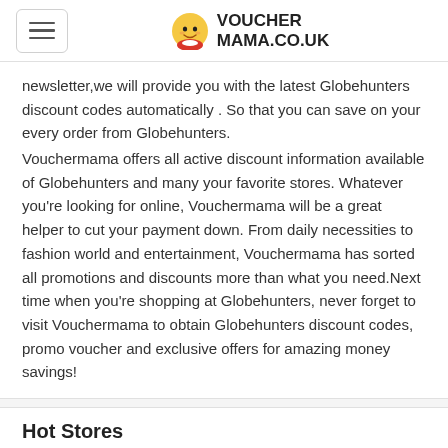VOUCHERMAMA.CO.UK
newsletter,we will provide you with the latest Globehunters discount codes automatically . So that you can save on your every order from Globehunters. Vouchermama offers all active discount information available of Globehunters and many your favorite stores. Whatever you're looking for online, Vouchermama will be a great helper to cut your payment down. From daily necessities to fashion world and entertainment, Vouchermama has sorted all promotions and discounts more than what you need.Next time when you're shopping at Globehunters, never forget to visit Vouchermama to obtain Globehunters discount codes, promo voucher and exclusive offers for amazing money savings!
Hot Stores